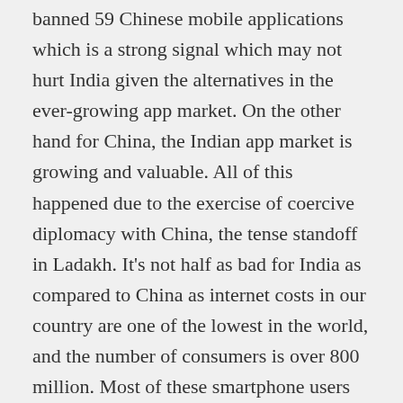banned 59 Chinese mobile applications which is a strong signal which may not hurt India given the alternatives in the ever-growing app market. On the other hand for China, the Indian app market is growing and valuable. All of this happened due to the exercise of coercive diplomacy with China, the tense standoff in Ladakh. It's not half as bad for India as compared to China as internet costs in our country are one of the lowest in the world, and the number of consumers is over 800 million. Most of these smartphone users are below the age of 25 and constantly hungry for content on their devices. This is probably the first big action that hits Chinese business interests in India.
While some could see this coming, others were surprised with the move. Popular applications such as TikTok, Shareit, ...